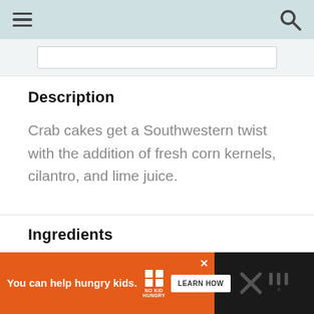Navigation bar with hamburger menu and search icon
Description
Crab cakes get a Southwestern twist with the addition of fresh corn kernels, cilantro, and lime juice.
Ingredients
SCALE 1X 2X 3X
You can help hungry kids. NO KID HUNGRY LEARN HOW